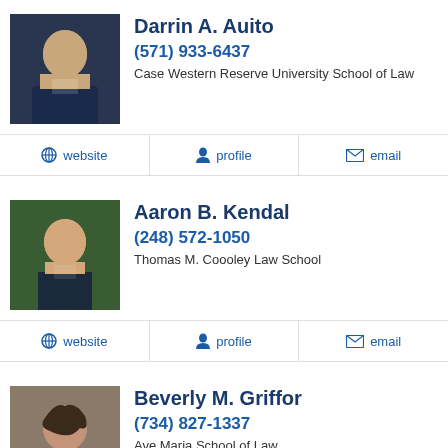Darrin A. Auito
(571) 933-6437
Case Western Reserve University School of Law
Aaron B. Kendal
(248) 572-1050
Thomas M. Coooley Law School
Beverly M. Griffor
(734) 827-1337
Ave Maria School of Law